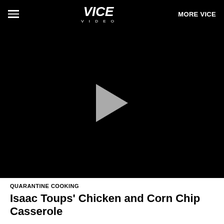VICE VIDEO | MORE VICE
[Figure (screenshot): Black video player area with a grey play button triangle in the center]
QUARANTINE COOKING
Isaac Toups’ Chicken and Corn Chip Casserole
Isaac Toups of Toups’ Meatery in New Orleans makes his wife’s favorite go-to meal while at home, the chicken and chips...